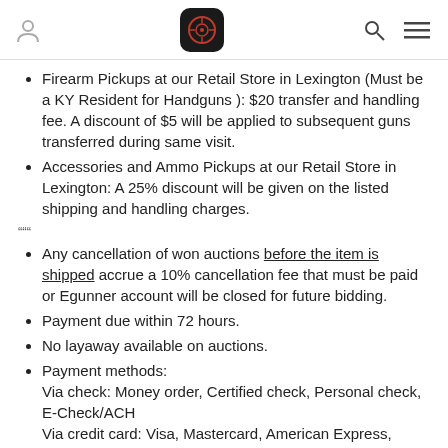App navigation header with user icon, logo, search icon, and menu icon
Firearm Pickups at our Retail Store in Lexington (Must be a KY Resident for Handguns ): $20 transfer and handling fee. A discount of $5 will be applied to subsequent guns transferred during same visit.
Accessories and Ammo Pickups at our Retail Store in Lexington: A 25% discount will be given on the listed shipping and handling charges.
"""
Any cancellation of won auctions before the item is shipped accrue a 10% cancellation fee that must be paid or Egunner account will be closed for future bidding.
Payment due within 72 hours.
No layaway available on auctions.
Payment methods:
Via check: Money order, Certified check, Personal check, E-Check/ACH
Via credit card: Visa, Mastercard, American Express, Discover as well as debit cards
Shipping fee for Firearms: $25
We are legally required to collect sales tax in all states /